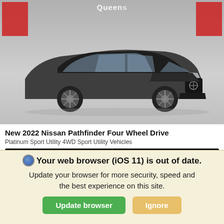[Figure (photo): Photo of a 2022 Nissan Pathfinder SUV in dark color, parked in front of a dealership with red facade panels and signage reading 'Queens'. The vehicle is shown from the front-left angle.]
New 2022 Nissan Pathfinder Four Wheel Drive
Platinum Sport Utility 4WD Sport Utility Vehicles
| Call For Price | MSRP |
| --- | --- |
|  | $51,535 |
Your web browser (iOS 11) is out of date.
Update your browser for more security, speed and the best experience on this site.
Update browser   Ignore